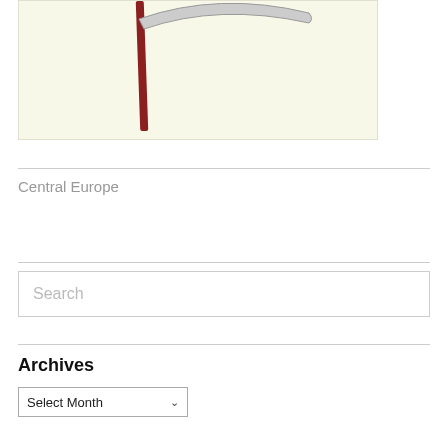[Figure (illustration): Illustration of a scythe with a dark red wooden handle and a curved grey blade, set against a pale yellow/cream background.]
Central Europe
Search
Archives
Select Month